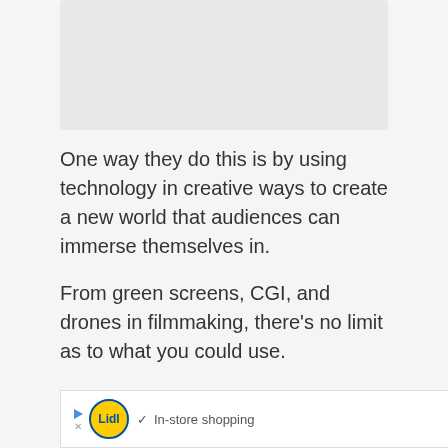[Figure (other): Gray placeholder image area at top of page]
One way they do this is by using technology in creative ways to create a new world that audiences can immerse themselves in.
From green screens, CGI, and drones in filmmaking, there's no limit as to what you could use.
But how exactly does it work? What are some of the advantages? With these resources at your disposal, how should you
Lidl · In-store shopping [advertisement bar]